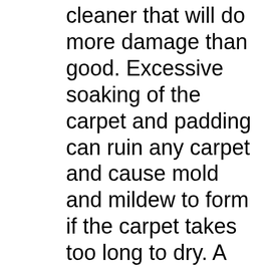cleaner that will do more damage than good. Excessive soaking of the carpet and padding can ruin any carpet and cause mold and mildew to form if the carpet takes too long to dry. A bad carpet cleaning job can easily void your carpet warranty and ruin even the most expensive carpets!